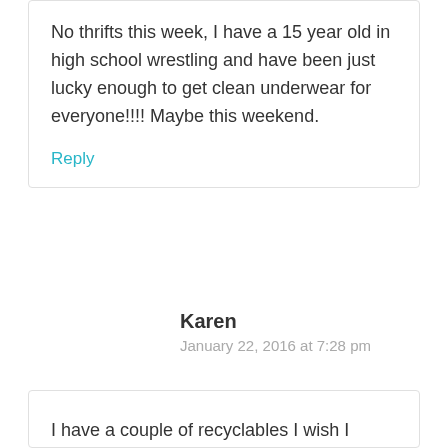No thrifts this week, I have a 15 year old in high school wrestling and have been just lucky enough to get clean underwear for everyone!!!! Maybe this weekend.
Reply
Karen
January 22, 2016 at 7:28 pm
I have a couple of recyclables I wish I could get to you from Charlotte.